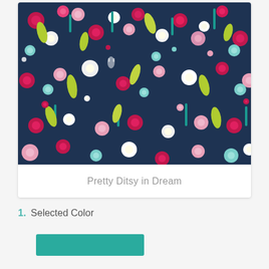[Figure (photo): A dense floral fabric pattern called 'Pretty Ditsy in Dream' featuring pink, magenta, white, light blue, and green flowers on a dark navy blue background]
Pretty Ditsy in Dream
1. Selected Color
[Figure (other): Teal/turquoise color swatch rectangle]